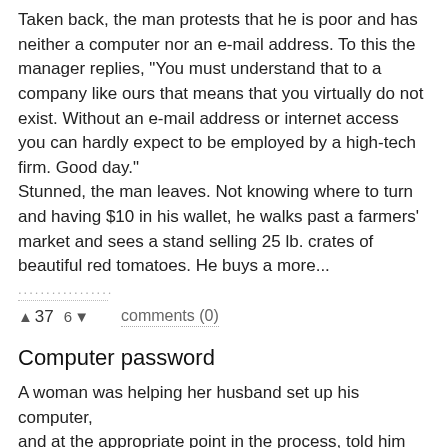Taken back, the man protests that he is poor and has neither a computer nor an e-mail address. To this the manager replies, "You must understand that to a company like ours that means that you virtually do not exist. Without an e-mail address or internet access you can hardly expect to be employed by a high-tech firm. Good day." Stunned, the man leaves. Not knowing where to turn and having $10 in his wallet, he walks past a farmers' market and sees a stand selling 25 lb. crates of beautiful red tomatoes. He buys a more...
👍 37   6 👎     comments (0)
Computer password
A woman was helping her husband set up his computer, and at the appropriate point in the process, told him that he would now need to enter a password. Something he will use to log on. The husband was in a rather amorous mood and figured he would try for the shock effect to bring this to his wife's attention.